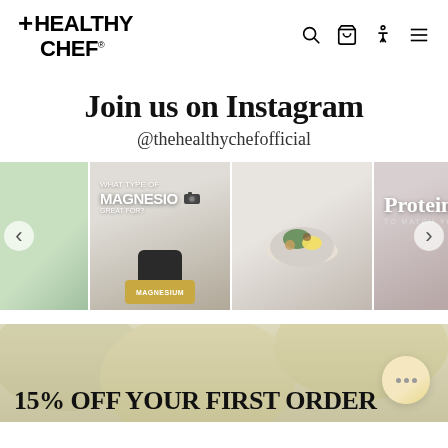[Figure (logo): +HEALTHY CHEF logo with navigation icons (search, cart, accessibility, menu)]
Join us on Instagram
@thehealthychefofficial
[Figure (photo): Instagram photo carousel showing: green drink, magnesium supplements post, smoothie bowl ingredients, protein shake with strawberries, and a partially visible product card. Left and right navigation arrows visible.]
[Figure (photo): Promotional banner with olive/yellow food background and text: 15% OFF YOUR FIRST ORDER, with a chat bubble widget in the bottom right.]